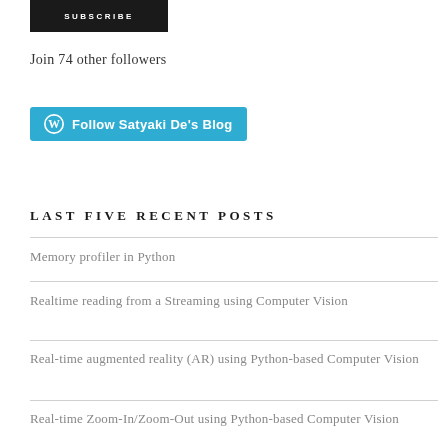[Figure (other): Black SUBSCRIBE button]
Join 74 other followers
[Figure (other): Blue Follow Satyaki De's Blog button with WordPress icon]
LAST FIVE RECENT POSTS
Memory profiler in Python
Realtime reading from a Streaming using Computer Vision
Real-time augmented reality (AR) using Python-based Computer Vision
Real-time Zoom-In/Zoom-Out using Python-based Computer Vision